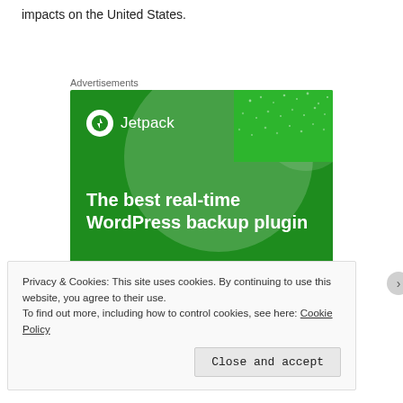impacts on the United States.
Advertisements
[Figure (illustration): Jetpack advertisement banner on green background showing logo, headline 'The best real-time WordPress backup plugin', and a 'Back up your site' button]
Privacy & Cookies: This site uses cookies. By continuing to use this website, you agree to their use.
To find out more, including how to control cookies, see here: Cookie Policy
Close and accept